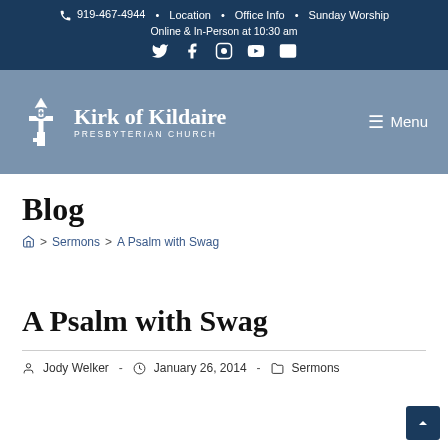📞 919-467-4944 · Location · Office Info · Sunday Worship | Online & In-Person at 10:30 am | Social icons: Twitter, Facebook, Instagram, YouTube, Email
[Figure (logo): Kirk of Kildaire Presbyterian Church logo with cross/key icon and Menu hamburger button in slate blue navigation bar]
Blog
🏠 > Sermons > A Psalm with Swag
A Psalm with Swag
Jody Welker · January 26, 2014 · Sermons